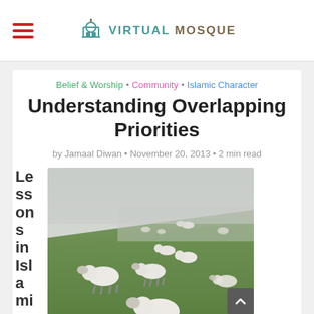Virtual Mosque
Belief & Worship · Community · Islamic Character
Understanding Overlapping Priorities
by Jamaal Diwan • November 20, 2013 • 2 min read
[Figure (photo): Sheep grazing on a foggy green hillside]
Lessons in Islamic